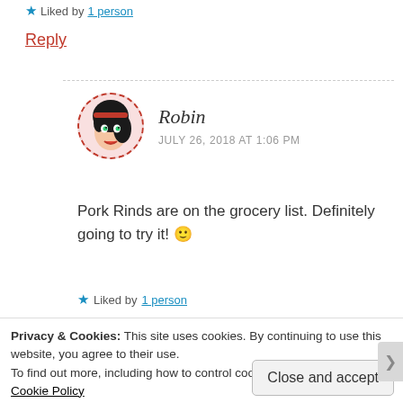★ Liked by 1 person
Reply
Robin
JULY 26, 2018 AT 1:06 PM
Pork Rinds are on the grocery list. Definitely going to try it! 🙂
★ Liked by 1 person
Privacy & Cookies: This site uses cookies. By continuing to use this website, you agree to their use.
To find out more, including how to control cookies, see here:
Cookie Policy
Close and accept